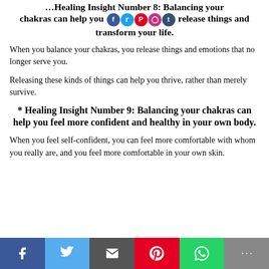…Healing Insight Number 8: Balancing your chakras can help you release things and transform your life.
When you balance your chakras, you release things and emotions that no longer serve you.
Releasing these kinds of things can help you thrive, rather than merely survive.
* Healing Insight Number 9: Balancing your chakras can help you feel more confident and healthy in your own body.
When you feel self-confident, you can feel more comfortable with whom you really are, and you feel more comfortable in your own skin.
Social share bar: Facebook, Twitter, Email, Pinterest, WhatsApp, More